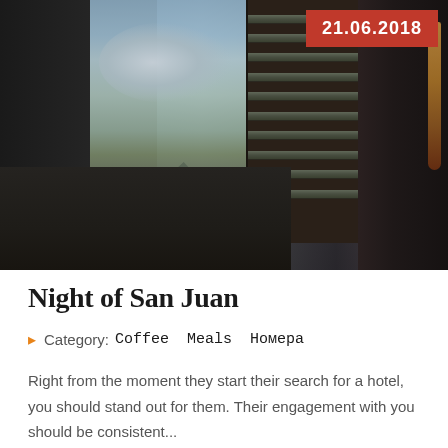[Figure (photo): Interior hotel room scene showing a desk with items in the foreground, a large window with mountain/cityscape view and dramatic cloudy sky, window blinds on the right, and hanging coats on the far right. Dark moody atmosphere.]
Night of San Juan
Category:Coffee Meals Номера
Right from the moment they start their search for a hotel, you should stand out for them. Their engagement with you should be consistent...